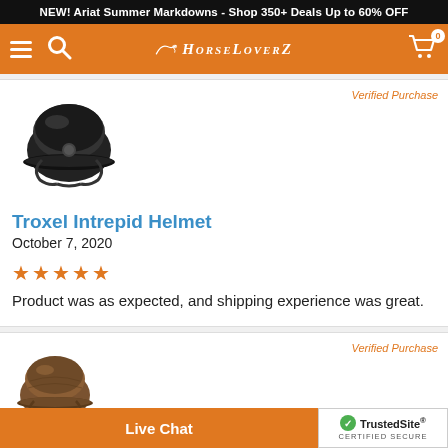NEW! Ariat Summer Markdowns - Shop 350+ Deals Up to 60% OFF
[Figure (screenshot): HorseLoverZ navigation bar with hamburger menu, search icon, logo, and cart icon with 0 badge]
Verified Purchase
[Figure (photo): Black Troxel Intrepid equestrian helmet product photo]
Troxel Intrepid Helmet
October 7, 2020
★★★★★
Product was as expected, and shipping experience was great.
Verified Purchase
[Figure (photo): Brown equestrian helmet product photo (second review, partially visible)]